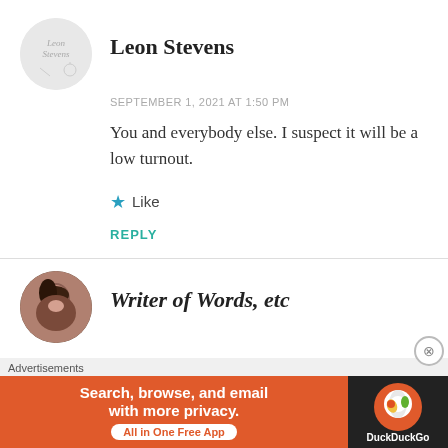Leon Stevens
SEPTEMBER 1, 2021 AT 1:50 PM
You and everybody else. I suspect it will be a low turnout.
★ Like
REPLY
Writer of Words, etc
Advertisements
Search, browse, and email with more privacy. All in One Free App DuckDuckGo